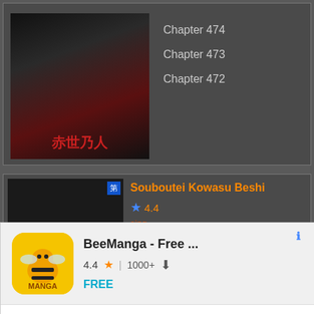[Figure (screenshot): Manga listing card showing manga thumbnail with Chinese characters and chapter list showing Chapter 474, Chapter 473, Chapter 472]
Chapter 474
Chapter 473
Chapter 472
[Figure (screenshot): Second manga card with thumbnail showing Souboutei Kowasu Beshi title in orange, rating 4.4 with blue star]
Souboutei Kowasu Beshi
[Figure (screenshot): Google Play ad overlay for BeeManga - Free app showing icon, 4.4 star rating, 1000+ downloads, FREE label, Best Free Webtoon Reader Apps headline, INSTALL button]
BeeManga - Free ...
4.4 ★ | 1000+ ⬇
FREE
Best Free Webtoon Reader Apps
The Best Manhua Reader App
Google Play
INSTALL
HOT
4.5